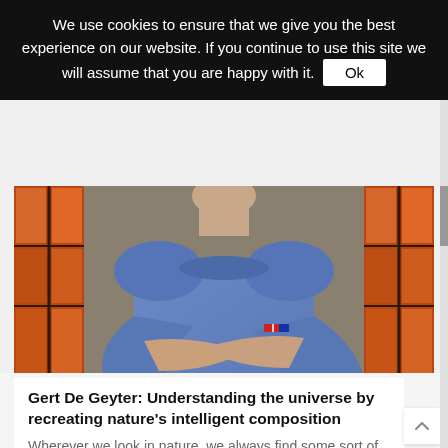We use cookies to ensure that we give you the best experience on our website. If you continue to use this site we will assume that you are happy with it. Ok
[Figure (photo): A man in a blue crew-neck sweater with arms crossed, standing in front of stained glass windows with orange and red colors. Only his torso and arms are visible, with the bottom of his chin showing.]
Gert De Geyter: Understanding the universe by recreating nature's intelligent composition
Wherever we look in nature, we always find some sort of intelligence. Think of the